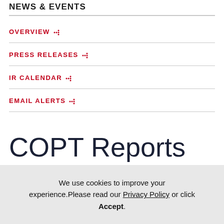NEWS & EVENTS
OVERVIEW
PRESS RELEASES
IR CALENDAR
EMAIL ALERTS
COPT Reports First Quarter
We use cookies to improve your experience. Please read our Privacy Policy or click Accept.